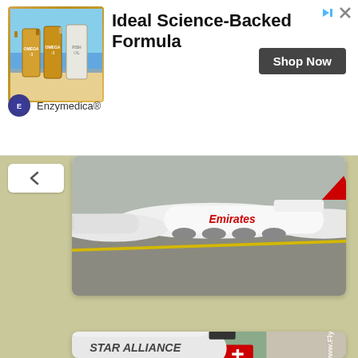[Figure (screenshot): Advertisement banner for Enzymedica Omega-3 supplement. Shows product bottles on left, headline 'Ideal Science-Backed Formula' in center, 'Shop Now' button, and Enzymedica brand logo at bottom left. Has skip/close icons top right.]
[Figure (photo): Emirates Airbus A380 aircraft parked on airport tarmac. Multiple large white aircraft visible in a row, Emirates livery visible on the largest plane.]
[Figure (photo): Multiple SWISS International Air Lines aircraft parked at airport. White planes with red SWISS livery, Star Alliance livery, and Edelweiss Air visible. Watermark 'www.Flying-Crews.com' on right side. Multiple aircraft tails showing Swiss cross flag visible.]